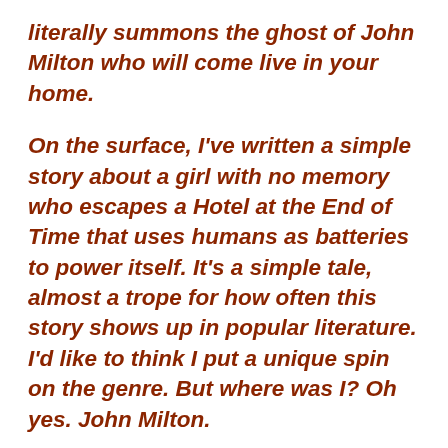literally summons the ghost of John Milton who will come live in your home.
On the surface, I've written a simple story about a girl with no memory who escapes a Hotel at the End of Time that uses humans as batteries to power itself. It's a simple tale, almost a trope for how often this story shows up in popular literature. I'd like to think I put a unique spin on the genre. But where was I? Oh yes. John Milton.
How was I supposed to know that writing this book would represent the exact